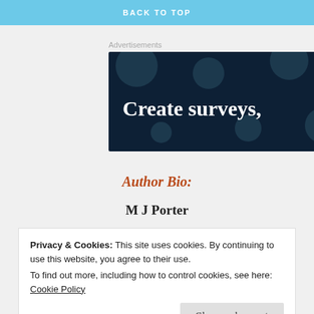BACK TO TOP
Advertisements
[Figure (illustration): Dark navy blue advertisement banner with large white serif text reading 'Create surveys,' and decorative circular dots scattered in the background.]
Author Bio:
M J Porter
Privacy & Cookies: This site uses cookies. By continuing to use this website, you agree to their use.
To find out more, including how to control cookies, see here: Cookie Policy
Close and accept
A LOT. You’ve been warned!